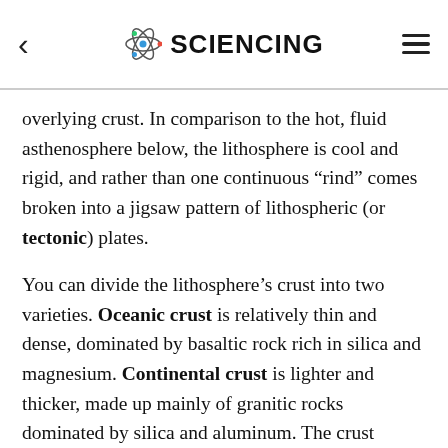SCIENCING
overlying crust. In comparison to the hot, fluid asthenosphere below, the lithosphere is cool and rigid, and rather than one continuous “rind” comes broken into a jigsaw pattern of lithospheric (or tectonic) plates.
You can divide the lithosphere’s crust into two varieties. Oceanic crust is relatively thin and dense, dominated by basaltic rock rich in silica and magnesium. Continental crust is lighter and thicker, made up mainly of granitic rocks dominated by silica and aluminum. The crust extends some 2 to 6 miles beneath ocean basins and as far as 50 miles beneath major mountain